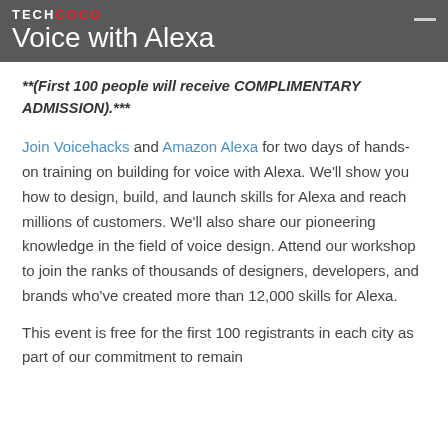TEchCOCO — Voice with Alexa
Voice with Alexa
**(First 100 people will receive COMPLIMENTARY ADMISSION).***
Join Voicehacks and Amazon Alexa for two days of hands-on training on building for voice with Alexa. We'll show you how to design, build, and launch skills for Alexa and reach millions of customers. We'll also share our pioneering knowledge in the field of voice design. Attend our workshop to join the ranks of thousands of designers, developers, and brands who've created more than 12,000 skills for Alexa.
This event is free for the first 100 registrants in each city as part of our commitment to remain